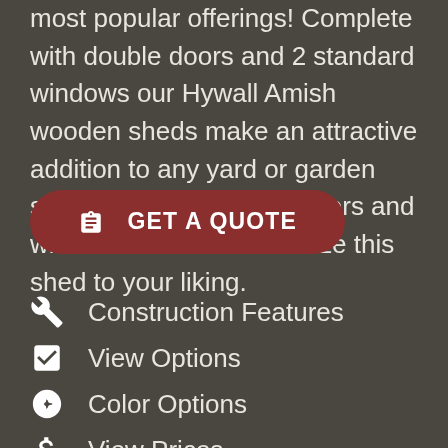most popular offerings! Complete with double doors and 2 standard windows our Hywall Amish wooden sheds make an attractive addition to any yard or garden setting. Add optional shutters and window boxes to customize this shed to your liking.
GET A QUOTE
Construction Features
View Options
Color Options
View Prices
LuxGuard Flooring